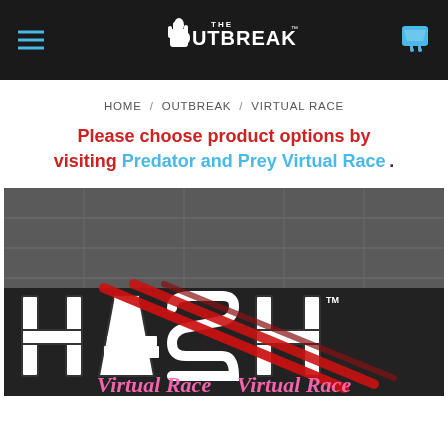THE OUTBREAK (logo) | Navigation header with hamburger menu and cart icon
HOME / OUTBREAK / VIRTUAL RACE
Please choose product options by visiting Predator and Prey Virtual Race .
[Figure (photo): Photo of an indoor room with ceiling tiles, showing the HASH Virtual Race logo — large block letters H A S H with red slash marks, and pink neon-style 'Virtual Race' text below, on a dark background.]